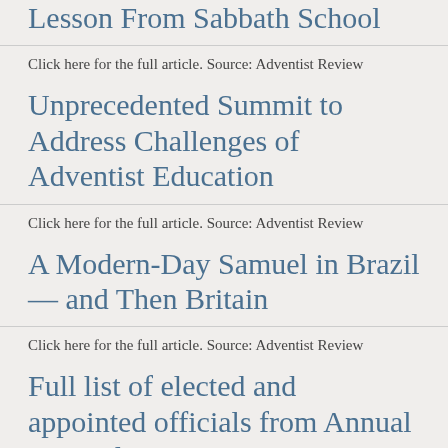Lesson From Sabbath School
Click here for the full article. Source: Adventist Review
Unprecedented Summit to Address Challenges of Adventist Education
Click here for the full article. Source: Adventist Review
A Modern-Day Samuel in Brazil — and Then Britain
Click here for the full article. Source: Adventist Review
Full list of elected and appointed officials from Annual Council